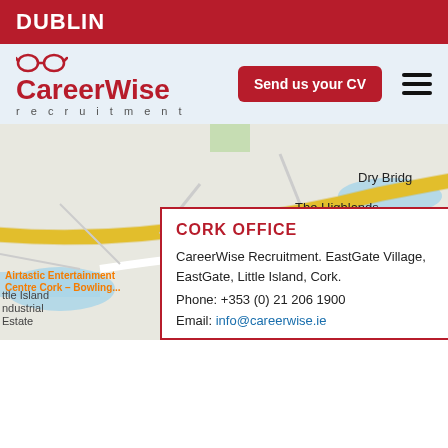DUBLIN
[Figure (logo): CareerWise Recruitment logo with stylized glasses icon above the text 'CareerWise' in red bold font and 'recruitment' in grey spaced letters below]
Send us your CV
[Figure (map): Google Maps view showing Cork area including Radisson Blu Hotel & Spa Cork, Airtastic Entertainment Centre Cork – Bowling..., Screwfix, The Highlands, Dry Bridge, Little Island Industrial Estate, and road R623. A yellow motorway runs diagonally across the map.]
CORK OFFICE
CareerWise Recruitment. EastGate Village, EastGate, Little Island, Cork.
Phone: +353 (0) 21 206 1900
Email: info@careerwise.ie